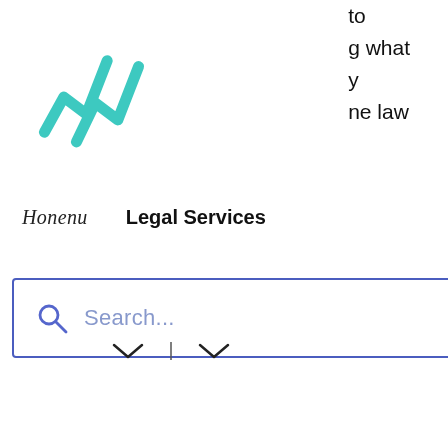[Figure (logo): Teal/turquoise abstract logo with overlapping diagonal check/wave marks]
to
g what
y
ne law
Honenu   Legal Services
[Figure (other): Hamburger menu icon (three horizontal lines)]
[Figure (other): Search bar with blue border and placeholder text Search...]
[Figure (other): Horizontal line divider on right side]
[Figure (other): Heart/favorite icon outline in coral/red]
[Figure (other): Dropdown arrow indicators below navigation]
[Figure (other): Carousel pagination dots: light gray, dark/black, light gray]